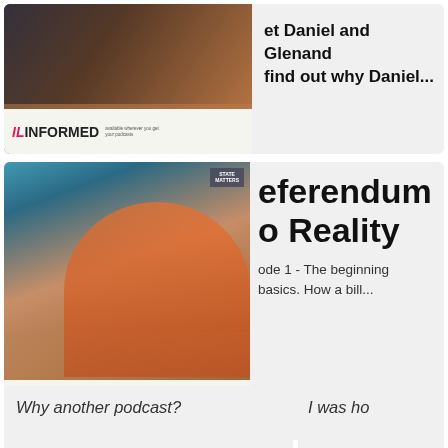[Figure (screenshot): Podcast card showing IL Informed logo and partial text: 'et Daniel and Glenand' and 'find out why Daniel...']
et Daniel and Glenand find out why Daniel...
[Figure (screenshot): Podcast card with IL Informed logo, photo of two laughing people, STATE MATTERS badge. Title shows 'eferendum' and 'o Reality'. Description shows 'ode 1 - The beginning basics. How a bill...']
eferendum o Reality
ode 1 - The beginning basics. How a bill...
Why another podcast?
I was ho